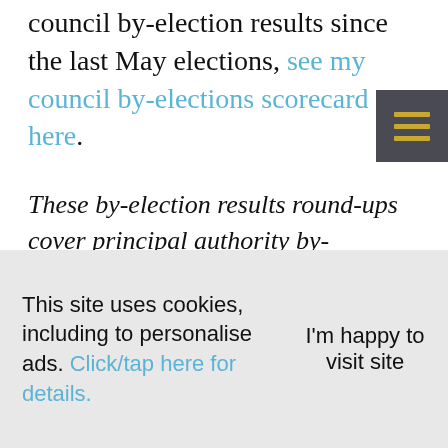council by-election results since the last May elections, see my council by-elections scorecard here.
These by-election results round-ups cover principal authority by-elections. See my post The danger in celebrating parish and town council wins for your own party for the reasons to avoid straying too often
This site uses cookies, including to personalise ads. Click/tap here for details.  I'm happy to visit site